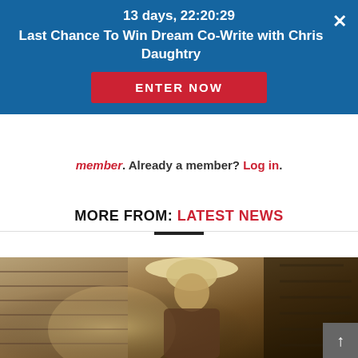13 days, 22:20:29
Last Chance To Win Dream Co-Write with Chris Daughtry
ENTER NOW
member. Already a member? Log in.
MORE FROM: LATEST NEWS
[Figure (photo): Sepia-toned photo of a man wearing a white cowboy hat and casual clothing, standing in a dimly lit rustic setting.]